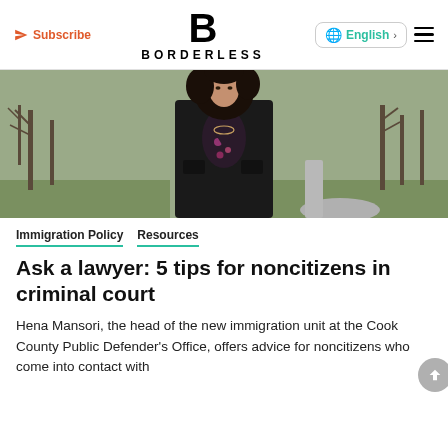Subscribe | BORDERLESS | English
[Figure (photo): A woman with curly dark hair wearing a black blazer over a floral top, standing in a park with bare trees and a path in the background.]
Immigration Policy   Resources
Ask a lawyer: 5 tips for noncitizens in criminal court
Hena Mansori, the head of the new immigration unit at the Cook County Public Defender's Office, offers advice for noncitizens who come into contact with